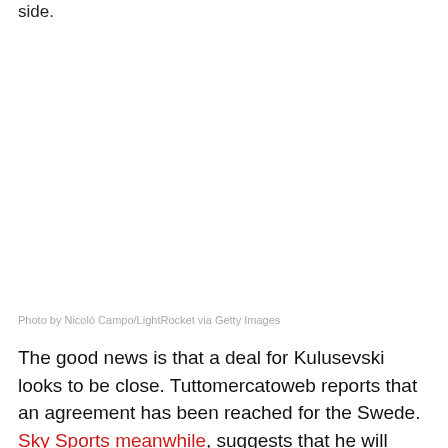side.
[Figure (photo): Blank/white image placeholder area for a photo credited to Nicolò Campo/LightRocket via Getty Images]
Photo by Nicolò Campo/LightRocket via Getty Images
The good news is that a deal for Kulusevski looks to be close. Tuttomercatoweb reports that an agreement has been reached for the Swede. Sky Sports meanwhile, suggests that he will arrive on loan with Tottenham having